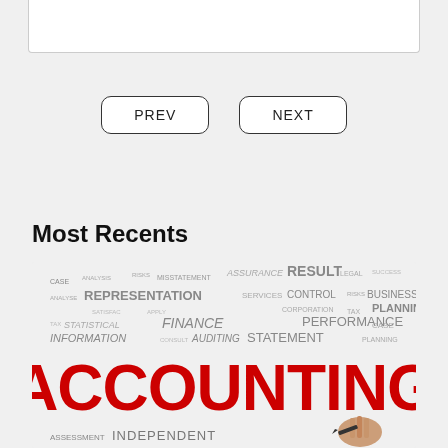[Figure (other): Navigation buttons area with PREV and NEXT buttons]
Most Recents
[Figure (illustration): Accounting word cloud image with large red ACCOUNTING text and various accounting-related terms. Words visible include: RESULT, REPRESENTATION, CONTROL, PLANNING, FINANCE, STATISTICAL, INFORMATION, AUDITING, STATEMENT, PERFORMANCE, BUSINESS, CASE, ASSURANCE, INDEPENDENT, ASSESSMENT]